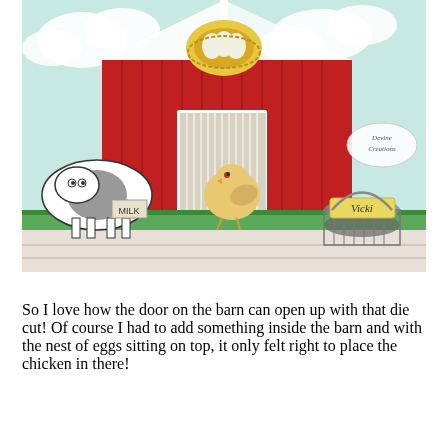[Figure (photo): A handcrafted paper barn card with a red barn shape, open barn doors, a chicken inside, a cow figure with a milk pail on the left, a nest of eggs on top of the barn, and a decorative basket with a yellow label reading 'Vicki' on the right, set on a white wood surface.]
So I love how the door on the barn can open up with that die cut!  Of course I had to add something inside the barn and with the nest of eggs sitting on top, it only felt right to place the chicken in there!